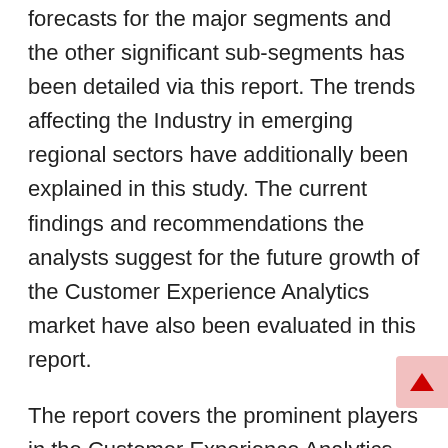forecasts for the major segments and the other significant sub-segments has been detailed via this report. The trends affecting the Industry in emerging regional sectors have additionally been explained in this study. The current findings and recommendations the analysts suggest for the future growth of the Customer Experience Analytics market have also been evaluated in this report.
The report covers the prominent players in the Customer Experience Analytics market with detailed SWOT analysis, financial overview, and key developments of the products/services from the past three years.
Speak to Our Expert @
https://www.in4research.com/speak-to-